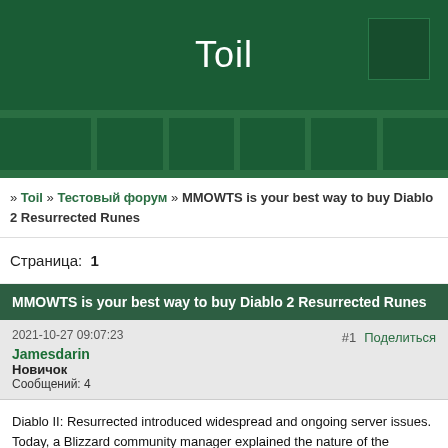Toil
» Toil » Тестовый форум » MMOWTS is your best way to buy Diablo 2 Resurrected Runes
Страница: 1
MMOWTS is your best way to buy Diablo 2 Resurrected Runes
2021-10-27 09:07:23
Jamesdarin
Новичок
Сообщений: 4
#1 Поделиться
Diablo II: Resurrected introduced widespread and ongoing server issues. Today, a Blizzard community manager explained the nature of the problem, part of which is the behavior of modern players, and the other part is some code from 20 years ago. Resurrected's server problems seem to get worse in the past few weeks.